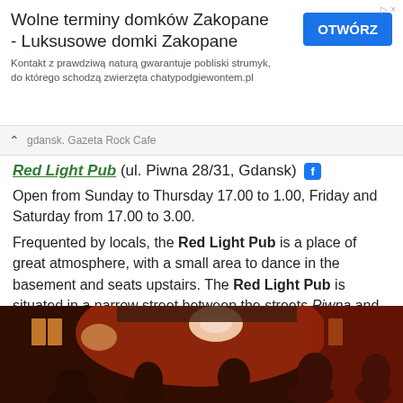[Figure (other): Advertisement banner for Wolne terminy domków Zakopane - Luksusowe domki Zakopane with OTWÓRZ button]
gdansk. Gazeta Rock Cafe
Red Light Pub (ul. Piwna 28/31, Gdansk)
Open from Sunday to Thursday 17.00 to 1.00, Friday and Saturday from 17.00 to 3.00.
Frequented by locals, the Red Light Pub is a place of great atmosphere, with a small area to dance in the basement and seats upstairs. The Red Light Pub is situated in a narrow street between the streets Piwna and Dluga Street: definitely a good choice to savor the authentic nightlife in Gdansk.
[Figure (photo): Interior photo of Red Light Pub showing red-lit bar area with people socializing]